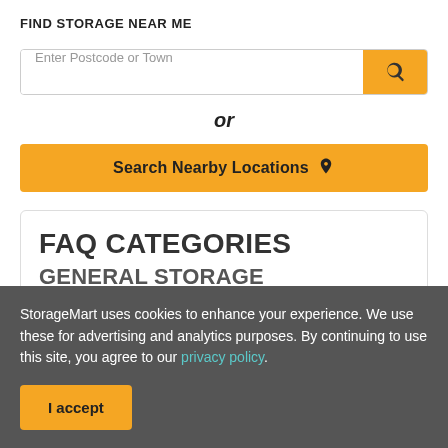FIND STORAGE NEAR ME
Enter Postcode or Town
or
Search Nearby Locations 📍
FAQ CATEGORIES
GENERAL STORAGE
StorageMart uses cookies to enhance your experience. We use these for advertising and analytics purposes. By continuing to use this site, you agree to our privacy policy.
I accept